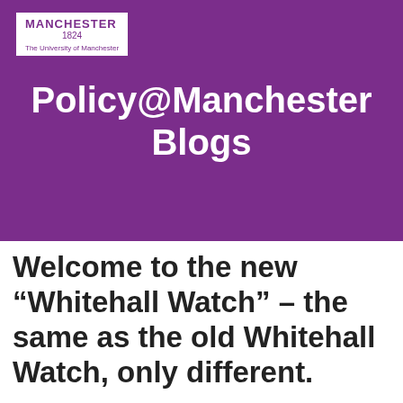[Figure (logo): University of Manchester logo with purple text on white background showing MANCHESTER 1824 and The University of Manchester]
Policy@Manchester Blogs
Welcome to the new “Whitehall Watch” – the same as the old Whitehall Watch, only different.